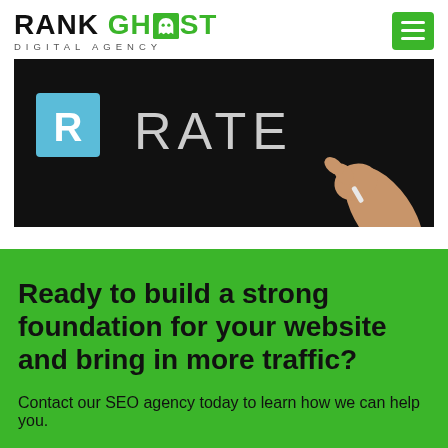[Figure (logo): Rank Ghost Digital Agency logo with ghost icon in green and black text]
[Figure (photo): Dark banner image showing a hand writing the word RATE on a blackboard, with a blue R square icon on the left]
Ready to build a strong foundation for your website and bring in more traffic?
Contact our SEO agency today to learn how we can help you.